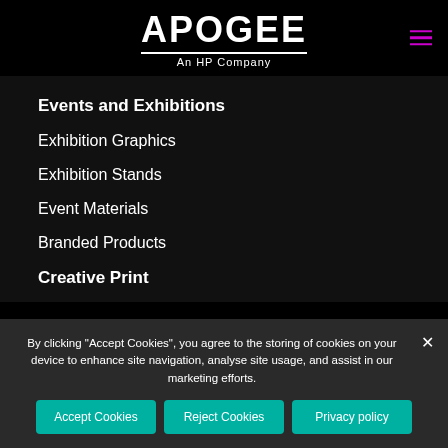[Figure (logo): APOGEE An HP Company logo, white text on black background]
Events and Exhibitions
Exhibition Graphics
Exhibition Stands
Event Materials
Branded Products
Creative Print
By clicking "Accept Cookies", you agree to the storing of cookies on your device to enhance site navigation, analyse site usage, and assist in our marketing efforts.
Accept Cookies | Reject Cookies | Privacy policy